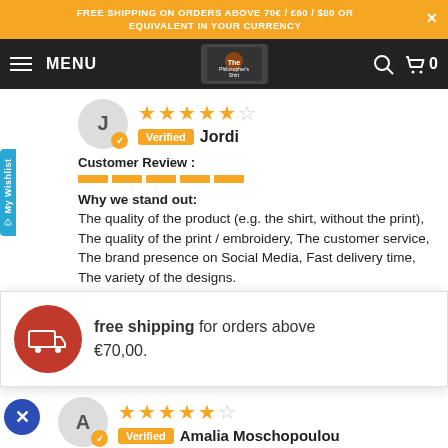FREE SHIPPING ON ORDERS ABOVE 70€ / £60 / $80 OR EQUIVALENT IN YOUR CURRENCY
MENU 0
Customer Review :
Why we stand out: The quality of the product (e.g. the shirt, without the print), The quality of the print / embroidery, The customer service, The brand presence on Social Media, Fast delivery time, The variety of the designs.
free shipping for orders above €70,00.
Customer Review :
Verified Jordi
Verified Amalia Moschopoulou